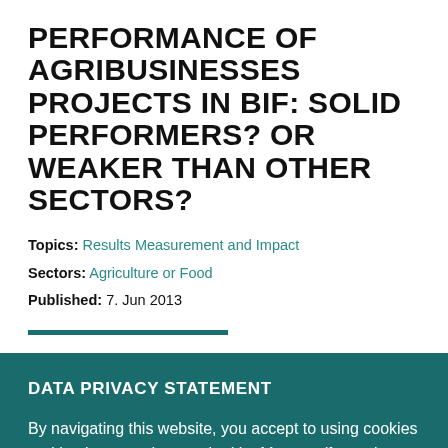PERFORMANCE OF AGRIBUSINESSES PROJECTS IN BIF: SOLID PERFORMERS? OR WEAKER THAN OTHER SECTORS?
Topics: Results Measurement and Impact
Sectors: Agriculture or Food
Published: 7. Jun 2013
DATA PRIVACY STATEMENT
By navigating this website, you accept to using cookies and having your data tracked by Matomo (formerly Piwik) open analytics platform. For more information, or to opt-out of this tracking process, see our privacy page.